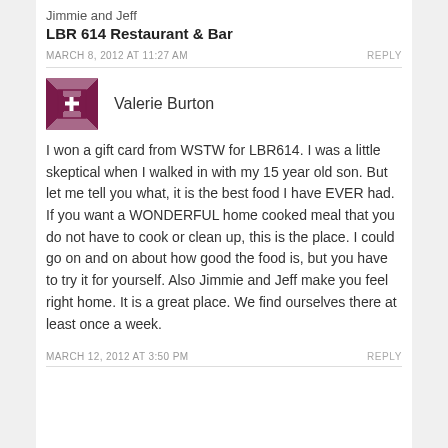Jimmie and Jeff
LBR 614 Restaurant & Bar
MARCH 8, 2012 AT 11:27 AM
REPLY
[Figure (illustration): Avatar image with geometric quilt-like pattern in dark red/maroon and white]
Valerie Burton
I won a gift card from WSTW for LBR614. I was a little skeptical when I walked in with my 15 year old son. But let me tell you what, it is the best food I have EVER had. If you want a WONDERFUL home cooked meal that you do not have to cook or clean up, this is the place. I could go on and on about how good the food is, but you have to try it for yourself. Also Jimmie and Jeff make you feel right home. It is a great place. We find ourselves there at least once a week.
MARCH 12, 2012 AT 3:50 PM
REPLY